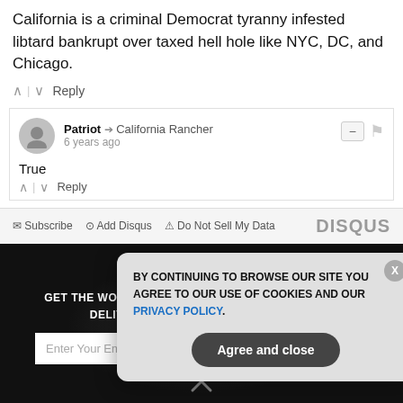California is a criminal Democrat tyranny infested libtard bankrupt over taxed hell hole like NYC, DC, and Chicago.
^ | v Reply
Patriot → California Rancher
6 years ago
True
^ | v Reply
Subscribe | Add Disqus | Do Not Sell My Data | DISQUS
[Figure (screenshot): Dark background newsletter signup section with email input and Subscribe button, with a cookie consent modal overlay showing 'BY CONTINUING TO BROWSE OUR SITE YOU AGREE TO OUR USE OF COOKIES AND OUR PRIVACY POLICY.' and an 'Agree and close' button.]